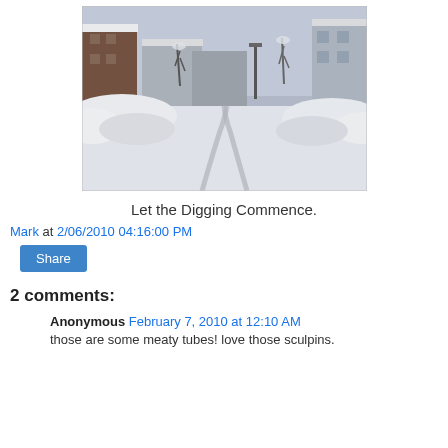[Figure (photo): A snowy parking lot or roadway with buildings on either side, tire tracks in the snow, and trees and a street lamp visible in the background under overcast skies.]
Let the Digging Commence.
Mark at 2/06/2010 04:16:00 PM
Share
2 comments:
Anonymous February 7, 2010 at 12:10 AM
those are some meaty tubes! love those sculpins.